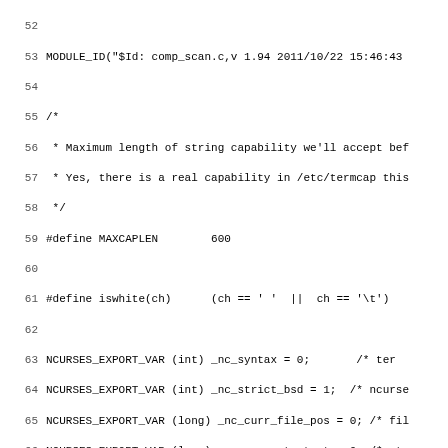Source code listing from comp_scan.c lines 52-83, showing C preprocessor defines, variable declarations, token struct initialization, and comment block for token-grabbing machinery.